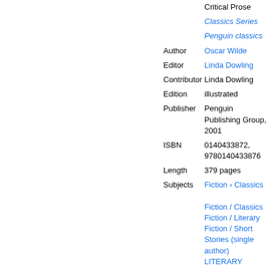| Field | Value |
| --- | --- |
|  | Critical Prose |
|  | Classics Series |
|  | Penguin classics |
| Author | Oscar Wilde |
| Editor | Linda Dowling |
| Contributor | Linda Dowling |
| Edition | illustrated |
| Publisher | Penguin Publishing Group, 2001 |
| ISBN | 0140433872, 9780140433876 |
| Length | 379 pages |
| Subjects | Fiction › Classics
Fiction / Classics
Fiction / Literary
Fiction / Short Stories (single author)
LITERARY COLLECTIONS |